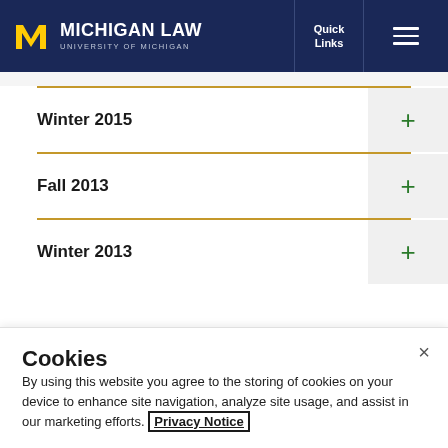Michigan Law — University of Michigan | Quick Links | Menu
Winter 2015
Fall 2013
Winter 2013
Cookies
By using this website you agree to the storing of cookies on your device to enhance site navigation, analyze site usage, and assist in our marketing efforts. Privacy Notice